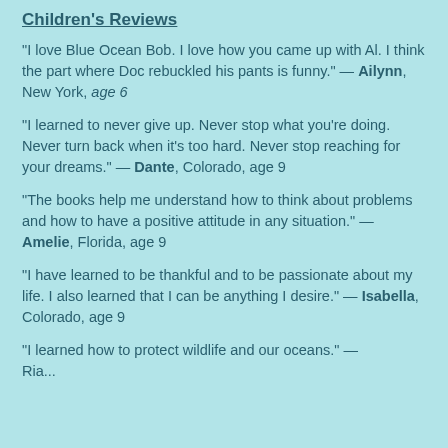Children's Reviews
"I love Blue Ocean Bob. I love how you came up with Al. I think the part where Doc rebuckled his pants is funny." — Ailynn, New York, age 6
"I learned to never give up.  Never stop what you're doing. Never turn back when it's too hard.  Never stop reaching for your dreams." — Dante, Colorado, age 9
"The books help me understand how to think about problems and how to have a positive attitude in any situation." — Amelie, Florida, age 9
"I have learned to be thankful and to be passionate about my life.  I also learned that I can be anything I desire." — Isabella, Colorado, age 9
"I learned how to protect wildlife and our oceans." — Ria...